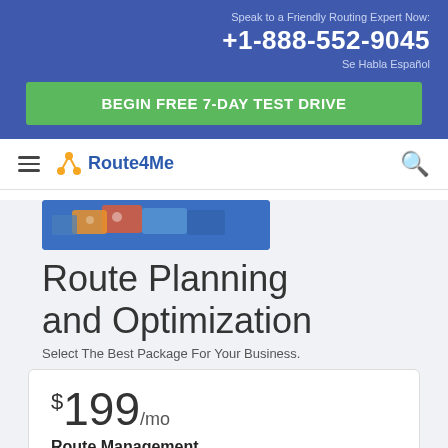Speak to a Friendly Routing Expert Now:
+1-888-552-9045
Se Habla Español
BEGIN FREE 7-DAY TEST DRIVE
[Figure (logo): Route4Me logo with hamburger menu and search icon navigation bar]
[Figure (photo): Partial image of mobile devices and maps]
Route Planning and Optimization
Select The Best Package For Your Business.
$199/mo
Route Management